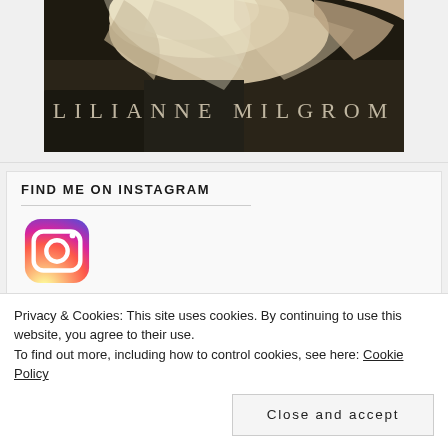[Figure (illustration): Book cover image showing a painting with fabric/cloth and a hand visible, dark background, with author name LILIANNE MILGROM overlaid in large spaced serif letters]
FIND ME ON INSTAGRAM
[Figure (logo): Instagram logo icon - colorful gradient camera icon]
Privacy & Cookies: This site uses cookies. By continuing to use this website, you agree to their use.
To find out more, including how to control cookies, see here: Cookie Policy
Close and accept